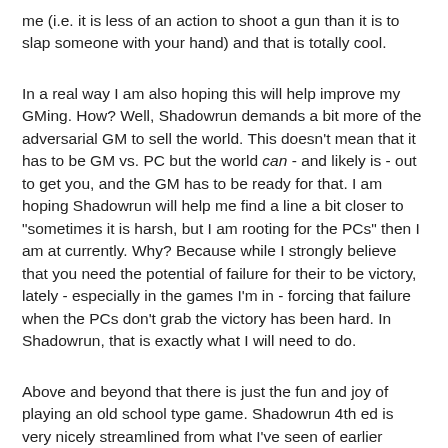me (i.e. it is less of an action to shoot a gun than it is to slap someone with your hand) and that is totally cool.
In a real way I am also hoping this will help improve my GMing. How? Well, Shadowrun demands a bit more of the adversarial GM to sell the world. This doesn't mean that it has to be GM vs. PC but the world can - and likely is - out to get you, and the GM has to be ready for that. I am hoping Shadowrun will help me find a line a bit closer to "sometimes it is harsh, but I am rooting for the PCs" then I am at currently. Why? Because while I strongly believe that you need the potential of failure for their to be victory, lately - especially in the games I'm in - forcing that failure when the PCs don't grab the victory has been hard. In Shadowrun, that is exactly what I will need to do.
Above and beyond that there is just the fun and joy of playing an old school type game. Shadowrun 4th ed is very nicely streamlined from what I've seen of earlier editions, but it still has it's roots in the late eighties/early nineties culture it